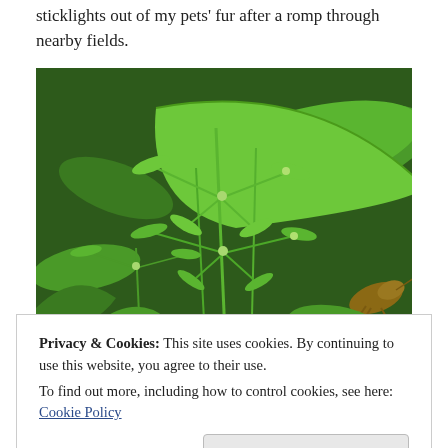sticklights out of my pets' fur after a romp through nearby fields.
[Figure (photo): Close-up photograph of green cleavers/goosegrass plant (Galium aparine) with whorled leaves and small round seed pods, with a brown grasshopper or cricket visible in the lower right corner.]
Privacy & Cookies: This site uses cookies. By continuing to use this website, you agree to their use.
To find out more, including how to control cookies, see here: Cookie Policy
[Figure (photo): Partial view of another green plant photograph at the bottom of the page.]